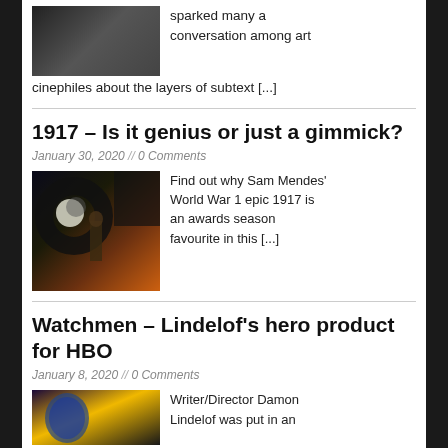[Figure (photo): Dark photo of a figure in black coat near a stone monument]
sparked many a conversation among art cinephiles about the layers of subtext [...]
1917 – Is it genius or just a gimmick?
January 30, 2020 // 0 Comments
[Figure (photo): Movie poster for 1917 showing a soldier with a large stylized '9' and a moon in the background]
Find out why Sam Mendes' World War 1 epic 1917 is an awards season favourite in this [...]
Watchmen – Lindelof's hero product for HBO
January 8, 2020 // 0 Comments
[Figure (photo): Watchmen promotional image with a blue-lit face against a yellow background]
Writer/Director Damon Lindelof was put in an